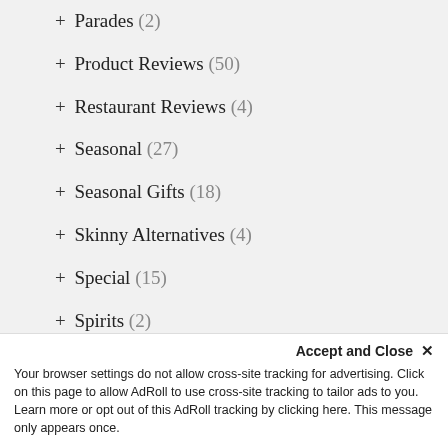+ Parades (2)
+ Product Reviews (50)
+ Restaurant Reviews (4)
+ Seasonal (27)
+ Seasonal Gifts (18)
+ Skinny Alternatives (4)
+ Special (15)
+ Spirits (2)
+ St. Patrick's Day (4)
+ tequila (1)
+ The Shisler's Family (100)
Accept and Close ✕
Your browser settings do not allow cross-site tracking for advertising. Click on this page to allow AdRoll to use cross-site tracking to tailor ads to you. Learn more or opt out of this AdRoll tracking by clicking here. This message only appears once.